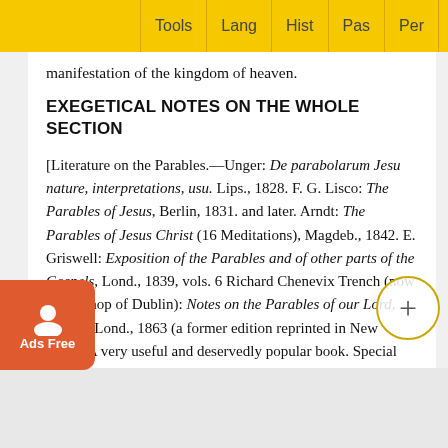Tools | Lang | Hist | Pas | Per | Site
manifestation of the kingdom of heaven.
EXEGETICAL NOTES ON THE WHOLE SECTION
[Literature on the Parables.—Unger: De parabolarum Jesu nature, interpretations, usu. Lips., 1828. F. G. Lisco: The Parables of Jesus, Berlin, 1831. and later. Arndt: The Parables of Jesus Christ (16 Meditations), Magdeb., 1842. E. Griswell: Exposition of the Parables and of other parts of the Gospels, Lond., 1839, vols. 6 Richard Chenevix Trench (now archbishop of Dublin): Notes on the Parables of our Lord, 9th ed., Lond., 1863 (a former edition reprinted in New York). A very useful and deservedly popular book. Special introductory essays on the Parable by Dr. Lange in Herzog's Encycl., sub Gleichniss vol v., p. 182 sqq., and another in Schneider's Deutsche Zei schrift für christl. Wissensch for 1856; by Card. Wiseman in his Misc. Essays; by Dr. Gerha... comm... ords of Jes... works